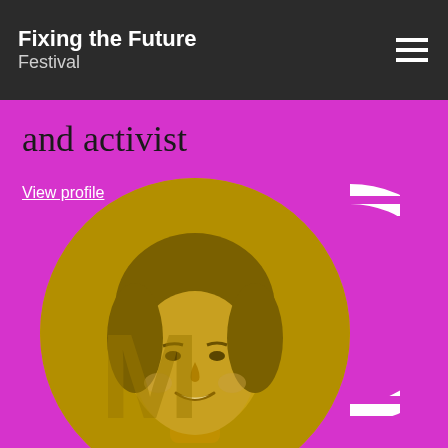Fixing the Future Festival
and activist
View profile
[Figure (photo): Circular portrait photo of a smiling woman with a golden/olive duotone color treatment, set on a magenta/purple background. To the right of the circle is a decorative striped arc element in white on the magenta background.]